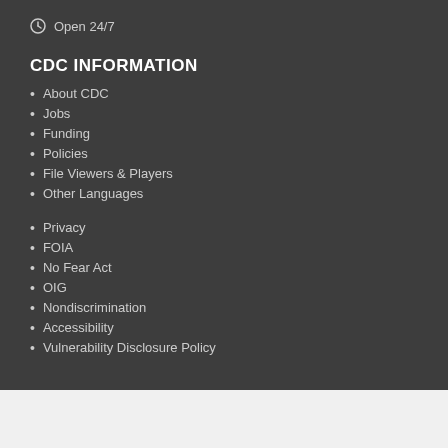Open 24/7
CDC INFORMATION
About CDC
Jobs
Funding
Policies
File Viewers & Players
Other Languages
Privacy
FOIA
No Fear Act
OIG
Nondiscrimination
Accessibility
Vulnerability Disclosure Policy